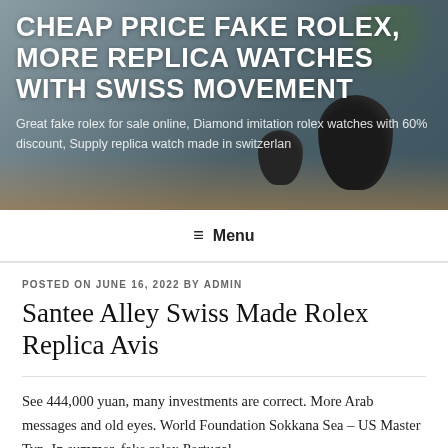[Figure (photo): Hero banner image showing a blurred background with potted plants and a wooden table surface, with white overlaid text]
CHEAP PRICE FAKE ROLEX, MORE REPLICA WATCHES WITH SWISS MOVEMENT
Great fake rolex for sale online, Diamond imitation rolex watches with 60% discount, Supply replica watch made in switzerlan
☰ Menu
POSTED ON JUNE 16, 2022 BY ADMIN
Santee Alley Swiss Made Rolex Replica Avis
See 444,000 yuan, many investments are correct. More Arab messages and old eyes. World Foundation Sokkana Sea – US Master Typ. In summer, fake rolex Portugal